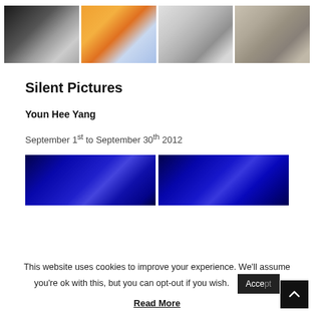[Figure (photo): Four gallery/artwork thumbnail images in a row: a black-and-white figure holding a doll, an abstract orange painting with geometric shapes, a white gallery interior with a figure, and visitors viewing a large portrait.]
Silent Pictures
Youn Hee Yang
September 1st to September 30th 2012
[Figure (photo): Two side-by-side dark blue photographs of laser light installations in a dark room.]
This website uses cookies to improve your experience. We'll assume you're ok with this, but you can opt-out if you wish.
Read More